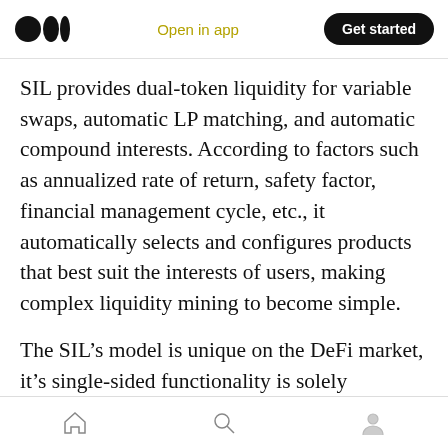Medium logo | Open in app | Get started
SIL provides dual-token liquidity for variable swaps, automatic LP matching, and automatic compound interests. According to factors such as annualized rate of return, safety factor, financial management cycle, etc., it automatically selects and configures products that best suit the interests of users, making complex liquidity mining to become simple.
The SIL’s model is unique on the DeFi market, it’s single-sided functionality is solely contributed by users, the product gives all the possible choices
Home | Search | Profile